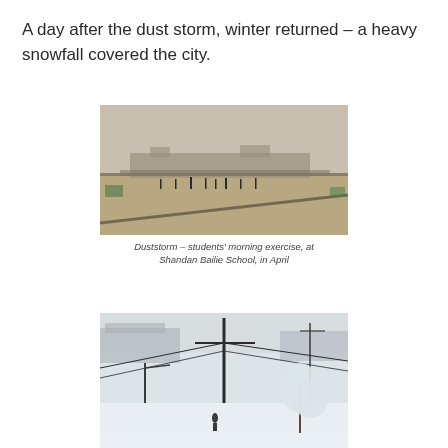A day after the dust storm, winter returned – a heavy snowfall covered the city.
[Figure (photo): A dusty, hazy scene of students doing morning exercise on a large school ground at Shandan Bailie School, viewed from above, with buildings in the background under a grey-brown sky.]
Duststorm – students' morning exercise, at Shandan Bailie School, in April
[Figure (photo): A snow-covered outdoor scene showing a snowy school or city area with utility poles, power lines, a basketball hoop, trees laden with snow, and a lone figure walking through the snow.]